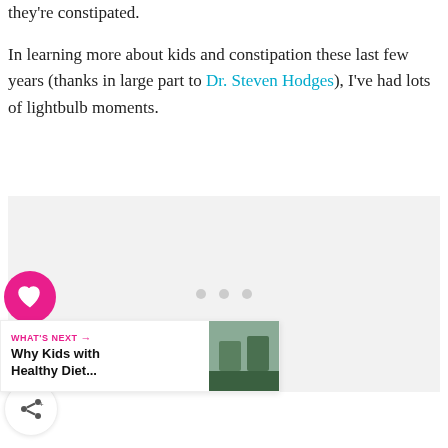they're constipated.
In learning more about kids and constipation these last few years (thanks in large part to Dr. Steven Hodges), I've had lots of lightbulb moments.
[Figure (photo): Placeholder image area with three gray loading dots in the center]
2.2K
WHAT'S NEXT → Why Kids with Healthy Diet...